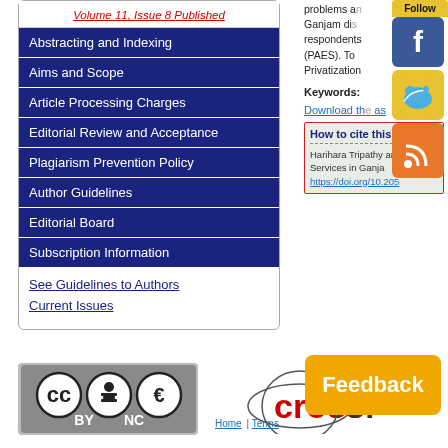Volume 11, Issue 8 Published
Abstracting and Indexing
Aims and Scope
Article Processing Charges
Editorial Review and Acceptance
Plagiarism Prevention Policy
Author Guidelines
Editorial Board
Subscription Information
See Guidelines to Authors
Current Issues
problems ar... Ganjam di... respondents... (PAES). To... Privatization...
Keywords:
Download th... as...
How to cite this art...
Harihara Tripathy an... Services in Ganjar... https://doi.org/10.205...
[Figure (logo): Creative Commons BY NC license badge]
[Figure (logo): Crossref logo with circular emblem]
Feedback
Home | Terms
[Figure (infographic): Social media sidebar with Follow button, Facebook, Twitter, and RSS icons]